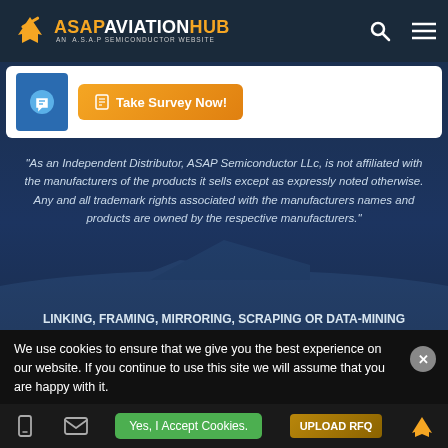ASAP AVIATION HUB — AN A.S.A.P SEMICONDUCTOR WEBSITE
[Figure (screenshot): Take Survey Now! orange button with clipboard icon on white card banner]
"As an Independent Distributor, ASAP Semiconductor LLc, is not affiliated with the manufacturers of the products it sells except as expressly noted otherwise. Any and all trademark rights associated with the manufacturers names and products are owned by the respective manufacturers."
LINKING, FRAMING, MIRRORING, SCRAPING OR DATA-MINING STRICTLY PROHIBITED
Copyright © 2022, All rights reserved to ASAP Aviation Hub.
We use cookies to ensure that we give you the best experience on our website. If you continue to use this site we will assume that you are happy with it.
Yes, I Accept Cookies.  UPLOAD RFQ